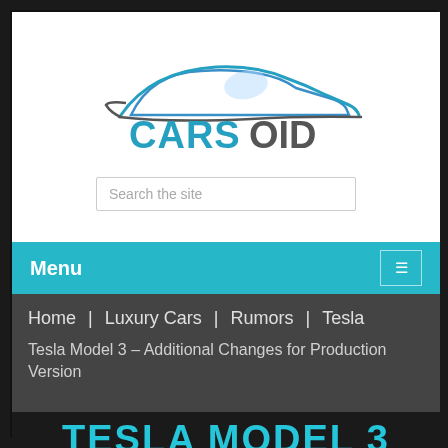[Figure (logo): CARSOID car website logo with stylized blue sports car silhouette and CARSOID text in blue/grey]
Search the site
Menu
Home  |  Luxury Cars  |  Rumors  |  Tesla
Tesla Model 3 – Additional Changes for Production Version
TESLA MODEL 3